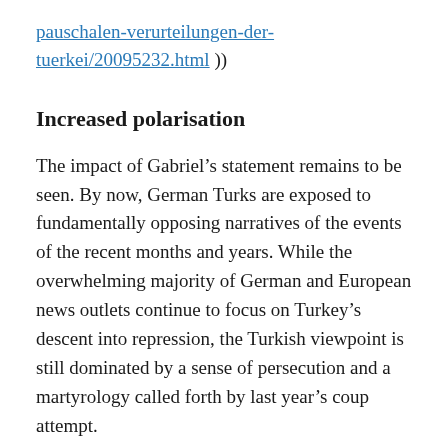pauschalen-verurteilungen-der-tuerkei/20095232.html ))
Increased polarisation
The impact of Gabriel’s statement remains to be seen. By now, German Turks are exposed to fundamentally opposing narratives of the events of the recent months and years. While the overwhelming majority of German and European news outlets continue to focus on Turkey’s descent into repression, the Turkish viewpoint is still dominated by a sense of persecution and a martyrology called forth by last year’s coup attempt.